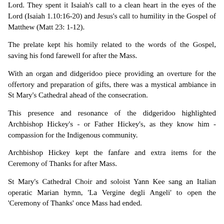Lord. They spent it Isaiah's call to a clean heart in the eyes of the Lord (Isaiah 1.10:16-20) and Jesus's call to humility in the Gospel of Matthew (Matt 23: 1-12).
The prelate kept his homily related to the words of the Gospel, saving his fond farewell for after the Mass.
With an organ and didgeridoo piece providing an overture for the offertory and preparation of gifts, there was a mystical ambiance in St Mary's Cathedral ahead of the consecration.
This presence and resonance of the didgeridoo highlighted Archbishop Hickey's - or Father Hickey's, as they know him - compassion for the Indigenous community.
Archbishop Hickey kept the fanfare and extra items for the Ceremony of Thanks for after Mass.
St Mary's Cathedral Choir and soloist Yann Kee sang an Italian operatic Marian hymn, 'La Vergine degli Angeli' to open the 'Ceremony of Thanks' once Mass had ended.